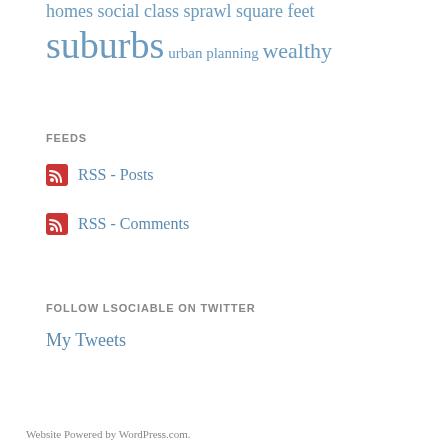homes social class sprawl square feet suburbs urban planning wealthy
FEEDS
RSS - Posts
RSS - Comments
FOLLOW LSOCIABLE ON TWITTER
My Tweets
Website Powered by WordPress.com.